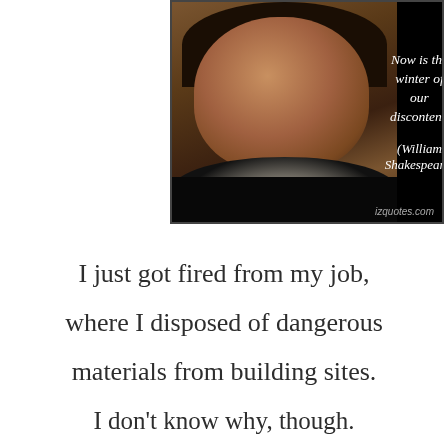[Figure (illustration): A black background image with a portrait painting of William Shakespeare on the left and a quote on the right reading 'Now is the winter of our discontent.' and '(William Shakespeare)' with izquotes.com credit at bottom right.]
I just got fired from my job, where I disposed of dangerous materials from building sites. I don't know why, though. I did asbestos I could!